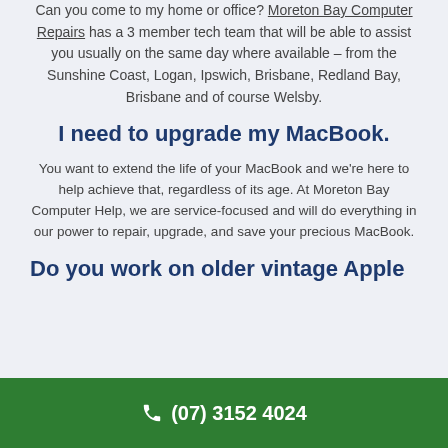Can you come to my home or office? Moreton Bay Computer Repairs has a 3 member tech team that will be able to assist you usually on the same day where available – from the Sunshine Coast, Logan, Ipswich, Brisbane, Redland Bay, Brisbane and of course Welsby.
I need to upgrade my MacBook.
You want to extend the life of your MacBook and we're here to help achieve that, regardless of its age. At Moreton Bay Computer Help, we are service-focused and will do everything in our power to repair, upgrade, and save your precious MacBook.
Do you work on older vintage Apple
(07) 3152 4024